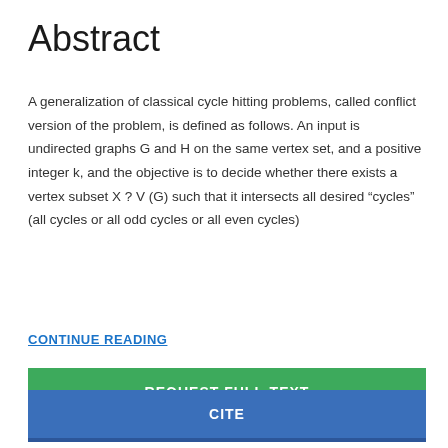Abstract
A generalization of classical cycle hitting problems, called conflict version of the problem, is defined as follows. An input is undirected graphs G and H on the same vertex set, and a positive integer k, and the objective is to decide whether there exists a vertex subset X ? V (G) such that it intersects all desired “cycles” (all cycles or all odd cycles or all even cycles)
CONTINUE READING
REQUEST FULL-TEXT
CITE